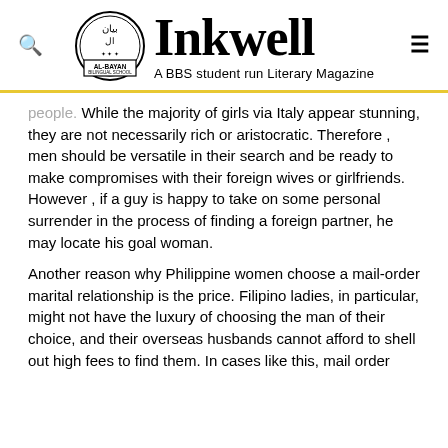Inkwell — A BBS student run Literary Magazine
people. While the majority of girls via Italy appear stunning, they are not necessarily rich or aristocratic. Therefore , men should be versatile in their search and be ready to make compromises with their foreign wives or girlfriends. However , if a guy is happy to take on some personal surrender in the process of finding a foreign partner, he may locate his goal woman.
Another reason why Philippine women choose a mail-order marital relationship is the price. Filipino ladies, in particular, might not have the luxury of choosing the man of their choice, and their overseas husbands cannot afford to shell out high fees to find them. In cases like this, mail order